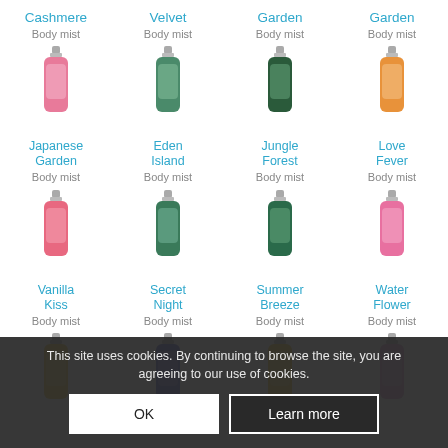[Figure (screenshot): Product grid of body mist sprays with names and bottle images. Row 1 (top, partial): Cashmere Body mist, Velvet Body mist, Garden Body mist, Garden Body mist. Row 2: Japanese Garden Body mist, Eden Island Body mist, Jungle Forest Body mist, Love Fever Body mist. Row 3: Vanilla Kiss Body mist, Secret Night Body mist, Summer Breeze Body mist, Water Flower Body mist. Row 4 (partial, behind cookie banner). Cookie consent overlay with text and OK/Learn more buttons.]